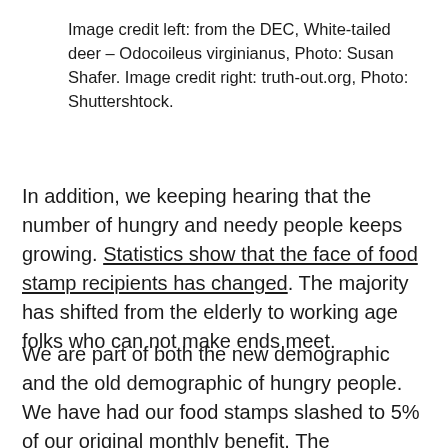Image credit left: from the DEC, White-tailed deer – Odocoileus virginianus, Photo: Susan Shafer. Image credit right: truth-out.org, Photo: Shuttershtock.
In addition, we keeping hearing that the number of hungry and needy people keeps growing. Statistics show that the face of food stamp recipients has changed. The majority has shifted from the elderly to working age folks who can not make ends meet.
We are part of both the new demographic and the old demographic of hungry people. We have had our food stamps slashed to 5% of our original monthly benefit. The immediate result of that was that we had to turn